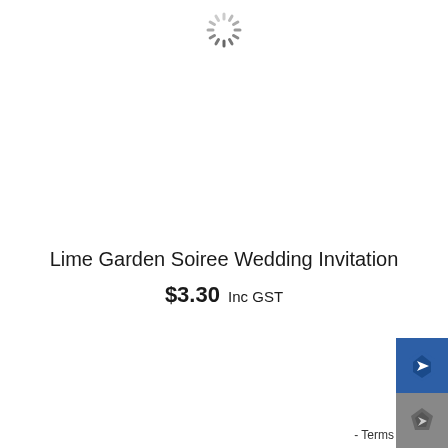[Figure (other): Loading spinner icon — circular dashed spinner graphic centered near the top of the page]
Lime Garden Soiree Wedding Invitation
$3.30 Inc GST
[Figure (logo): Partial badge/logo in bottom-right corner with blue and grey sections and a Terms label]